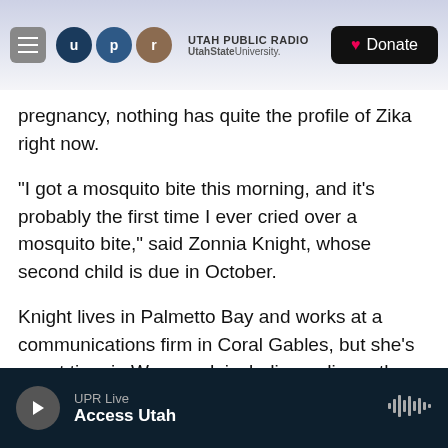UTAH PUBLIC RADIO | UtahStateUniversity. | Donate
pregnancy, nothing has quite the profile of Zika right now.
"I got a mosquito bite this morning, and it's probably the first time I ever cried over a mosquito bite," said Zonnia Knight, whose second child is due in October.
Knight lives in Palmetto Bay and works at a communications firm in Coral Gables, but she's spent time in Wynwood, including a dinner the night before pregnant women were told to avoid the area.
UPR Live | Access Utah